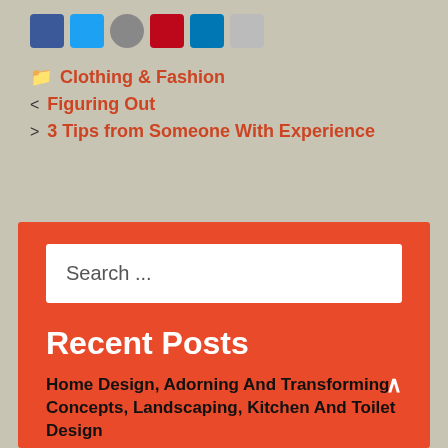[Figure (other): Row of social media share icons: Facebook (blue), Twitter (light blue), Google+ (grey circle), Pinterest (red), LinkedIn (blue), Email (grey)]
📁 Clothing & Fashion
< Figuring Out
> 3 Tips from Someone With Experience
Search ...
Recent Posts
Home Design, Adorning And Transforming Concepts, Landscaping, Kitchen And Toilet Design